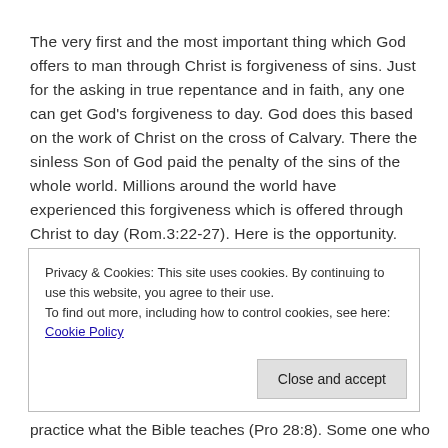The very first and the most important thing which God offers to man through Christ is forgiveness of sins. Just for the asking in true repentance and in faith, any one can get God's forgiveness to day. God does this based on the work of Christ on the cross of Calvary. There the sinless Son of God paid the penalty of the sins of the whole world. Millions around the world have experienced this forgiveness which is offered through Christ to day (Rom.3:22-27). Here is the opportunity. Do not ever miss
Privacy & Cookies: This site uses cookies. By continuing to use this website, you agree to their use. To find out more, including how to control cookies, see here: Cookie Policy
Close and accept
practice what the Bible teaches (Pro 28:8). Some one who